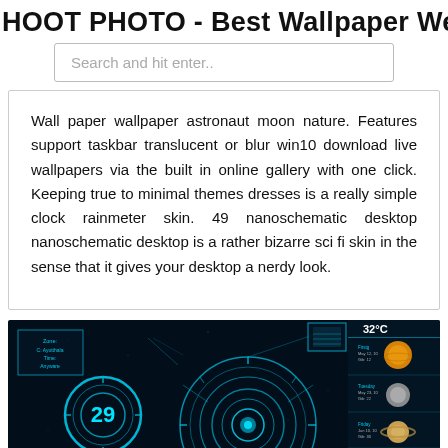HOOT PHOTO - Best Wallpaper Web
Search and hit enter..
Wall paper wallpaper astronaut moon nature. Features support taskbar translucent or blur win10 download live wallpapers via the built in online gallery with one click. Keeping true to minimal themes dresses is a really simple clock rainmeter skin. 49 nanoschematic desktop nanoschematic desktop is a rather bizarre sci fi skin in the sense that it gives your desktop a nerdy look.
[Figure (screenshot): A dark sci-fi nanoschematic desktop wallpaper with glowing cyan HUD elements, circular interface designs, planetary images on the right side, and the number 29 in a circle on the left. Temperature display showing 32°C visible in the upper right.]